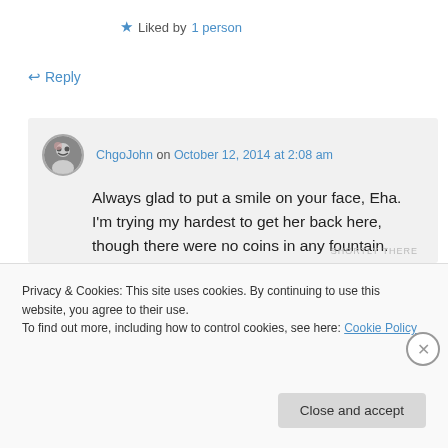★ Liked by 1 person
↩ Reply
ChgoJohn on October 12, 2014 at 2:08 am
Always glad to put a smile on your face, Eha. I'm trying my hardest to get her back here, though there were no coins in any fountain. Poor dear was so tired that I doubt she could have tossed one. 🙂
Privacy & Cookies: This site uses cookies. By continuing to use this website, you agree to their use.
To find out more, including how to control cookies, see here: Cookie Policy